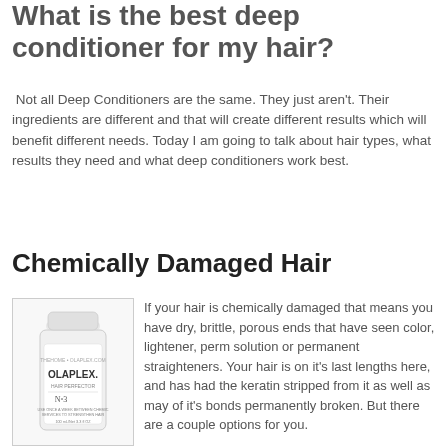What is the best deep conditioner for my hair?
Not all Deep Conditioners are the same. They just aren't. Their ingredients are different and that will create different results which will benefit different needs. Today I am going to talk about hair types, what results they need and what deep conditioners work best.
Chemically Damaged Hair
[Figure (photo): Olaplex Hair Perfector No.3 bottle, white bottle with minimalist label]
If your hair is chemically damaged that means you have dry, brittle, porous ends that have seen color, lightener, perm solution or permanent straighteners. Your hair is on it's last lengths here, and has had the keratin stripped from it as well as may of it's bonds permanently broken. But there are a couple options for you.